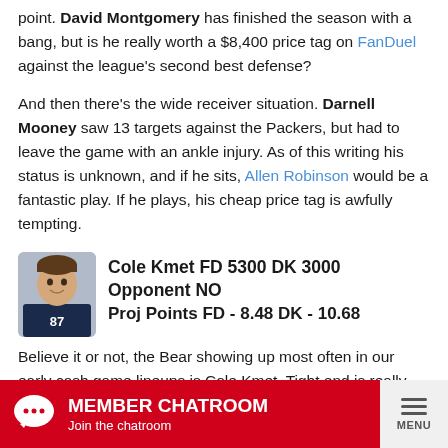point. David Montgomery has finished the season with a bang, but is he really worth a $8,400 price tag on FanDuel against the league's second best defense?
And then there's the wide receiver situation. Darnell Mooney saw 13 targets against the Packers, but had to leave the game with an ankle injury. As of this writing his status is unknown, and if he sits, Allen Robinson would be a fantastic play. If he plays, his cheap price tag is awfully tempting.
[Figure (photo): Headshot photo of Cole Kmet in a dark jersey]
Cole Kmet FD 5300 DK 3000
Opponent NO
Proj Points FD - 8.48 DK - 10.68
Believe it or not, the Bear showing up most often in our early cash game lineups is Cole Kmet. Tight end is really tough this week, and outside of an overpriced Mark Andrews you're really looking at guys who are getting 5 targets or fewer per game. But what about Cole Kmet? Looking at his season-long averages isn't exactly expiring,
MEMBER CHATROOM
Join the chatroom
MENU